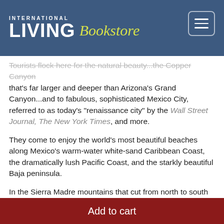INTERNATIONAL LIVING Bookstore
Tourists flock here for the natural beauty...the Copper Canyon that's far larger and deeper than Arizona's Grand Canyon...and to fabulous, sophisticated Mexico City, referred to as today's "renaissance city" by the Wall Street Journal, The New York Times, and more.
They come to enjoy the world's most beautiful beaches along Mexico's warm-water white-sand Caribbean Coast, the dramatically lush Pacific Coast, and the starkly beautiful Baja peninsula.
In the Sierra Madre mountains that cut from north to south on both sides of the country, you'll find charming Spanish colonial towns that enjoy a perfect year-round climate...
And everywhere in Mexico you'll find centuries-old
$499.00
Add to cart